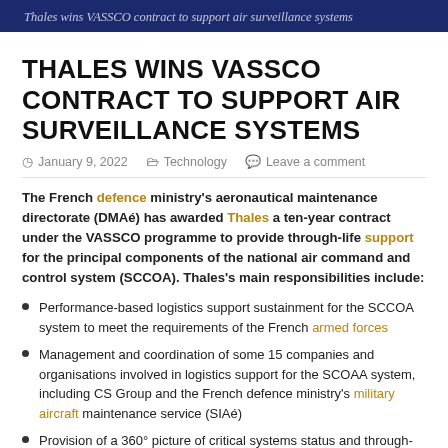Thales wins VASSCO contract to support air surveillance systems
THALES WINS VASSCO CONTRACT TO SUPPORT AIR SURVEILLANCE SYSTEMS
January 9, 2022   Technology   Leave a comment
The French defence ministry's aeronautical maintenance directorate (DMAé) has awarded Thales a ten-year contract under the VASSCO programme to provide through-life support for the principal components of the national air command and control system (SCCOA). Thales's main responsibilities include:
Performance-based logistics support sustainment for the SCCOA system to meet the requirements of the French armed forces
Management and coordination of some 15 companies and organisations involved in logistics support for the SCOAA system, including CS Group and the French defence ministry's military aircraft maintenance service (SIAé)
Provision of a 360° picture of critical systems status and through-